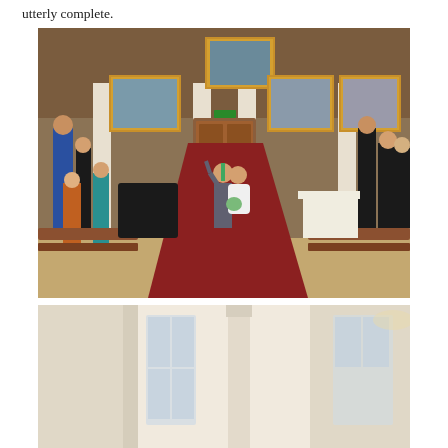utterly complete.
[Figure (photo): Wedding ceremony photo: bride and groom walking down the aisle of an elegant hall with paintings on the walls, guests applauding on both sides, red carpet, pianist in background.]
[Figure (photo): Interior architectural detail photo: close-up of cream/white columns and tall windows in a grand hall, out of focus, warm light.]